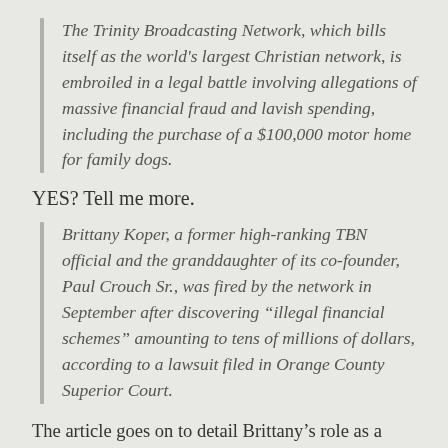The Trinity Broadcasting Network, which bills itself as the world's largest Christian network, is embroiled in a legal battle involving allegations of massive financial fraud and lavish spending, including the purchase of a $100,000 motor home for family dogs.
YES? Tell me more.
Brittany Koper, a former high-ranking TBN official and the granddaughter of its co-founder, Paul Crouch Sr., was fired by the network in September after discovering “illegal financial schemes” amounting to tens of millions of dollars, according to a lawsuit filed in Orange County Superior Court.
The article goes on to detail Brittany’s role as a